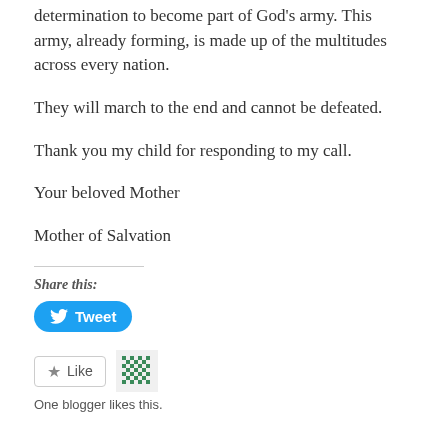determination to become part of God's army. This army, already forming, is made up of the multitudes across every nation.
They will march to the end and cannot be defeated.
Thank you my child for responding to my call.
Your beloved Mother
Mother of Salvation
Share this:
[Figure (other): Tweet button with Twitter bird icon]
[Figure (other): Like button and avatar pattern icon]
One blogger likes this.